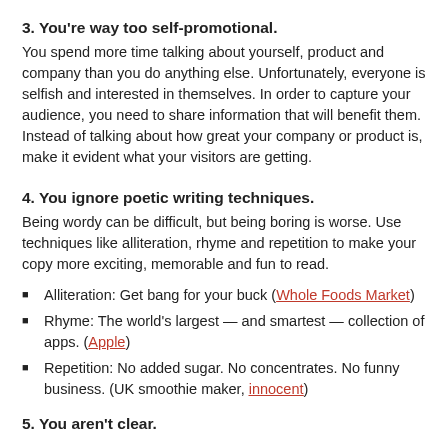3. You're way too self-promotional.
You spend more time talking about yourself, product and company than you do anything else. Unfortunately, everyone is selfish and interested in themselves. In order to capture your audience, you need to share information that will benefit them. Instead of talking about how great your company or product is, make it evident what your visitors are getting.
4. You ignore poetic writing techniques.
Being wordy can be difficult, but being boring is worse. Use techniques like alliteration, rhyme and repetition to make your copy more exciting, memorable and fun to read.
Alliteration: Get bang for your buck (Whole Foods Market)
Rhyme: The world's largest — and smartest — collection of apps. (Apple)
Repetition: No added sugar. No concentrates. No funny business. (UK smoothie maker, innocent)
5. You aren't clear.